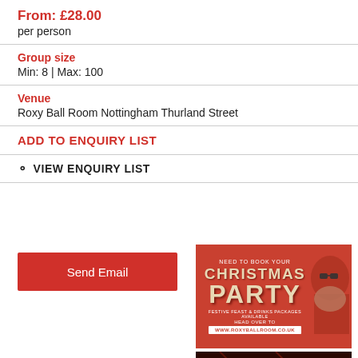From: £28.00
per person
Group size
Min: 8 | Max: 100
Venue
Roxy Ball Room Nottingham Thurland Street
ADD TO ENQUIRY LIST
VIEW ENQUIRY LIST
Send Email
[Figure (illustration): Christmas party advertisement banner with orange-red background showing 'NEED TO BOOK YOUR CHRISTMAS PARTY' text and a Santa Claus figure wearing sunglasses, with text 'FESTIVE FEAST & DRINKS PACKAGES AVAILABLE HEAD OVER TO WWW.ROXYBALLROOM.CO.UK']
[Figure (photo): Partial view of a venue interior with red lighting, showing ceiling/structure details]